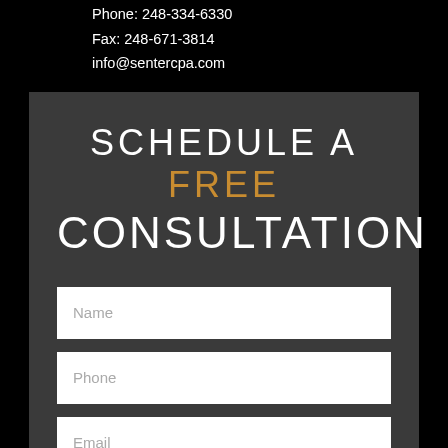Phone: 248-334-6330
Fax: 248-671-3814
info@sentercpa.com
SCHEDULE A FREE CONSULTATION
[Figure (other): Contact form with Name, Phone, and Email input fields on a dark gray background]